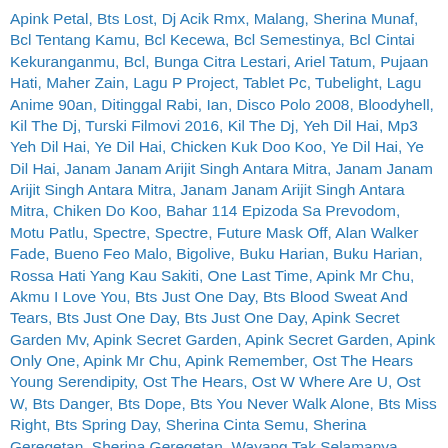Apink Petal, Bts Lost, Dj Acik Rmx, Malang, Sherina Munaf, Bcl Tentang Kamu, Bcl Kecewa, Bcl Semestinya, Bcl Cintai Kekuranganmu, Bcl, Bunga Citra Lestari, Ariel Tatum, Pujaan Hati, Maher Zain, Lagu P Project, Tablet Pc, Tubelight, Lagu Anime 90an, Ditinggal Rabi, Ian, Disco Polo 2008, Bloodyhell, Kil The Dj, Turski Filmovi 2016, Kil The Dj, Yeh Dil Hai, Mp3 Yeh Dil Hai, Ye Dil Hai, Chicken Kuk Doo Koo, Ye Dil Hai, Ye Dil Hai, Janam Janam Arijit Singh Antara Mitra, Janam Janam Arijit Singh Antara Mitra, Janam Janam Arijit Singh Antara Mitra, Chiken Do Koo, Bahar 114 Epizoda Sa Prevodom, Motu Patlu, Spectre, Spectre, Future Mask Off, Alan Walker Fade, Bueno Feo Malo, Bigolive, Buku Harian, Buku Harian, Rossa Hati Yang Kau Sakiti, One Last Time, Apink Mr Chu, Akmu I Love You, Bts Just One Day, Bts Blood Sweat And Tears, Bts Just One Day, Bts Just One Day, Apink Secret Garden Mv, Apink Secret Garden, Apink Secret Garden, Apink Only One, Apink Mr Chu, Apink Remember, Ost The Hears Young Serendipity, Ost The Hears, Ost W Where Are U, Ost W, Bts Danger, Bts Dope, Bts You Never Walk Alone, Bts Miss Right, Bts Spring Day, Sherina Cinta Semu, Sherina Geregetan, Sherina Geregetan, Wayang Tak Selamanya , Sevdam Alabora 5 Bolum, Sevdam Alabora 5 Bolum, Sevdam Alabora 5 Bolum, Sevdam Alabora 5 Bolum, Tudi Zivot 40 Epizoda Sa Prevodom Balkanje, Ost Goblin, Dewi